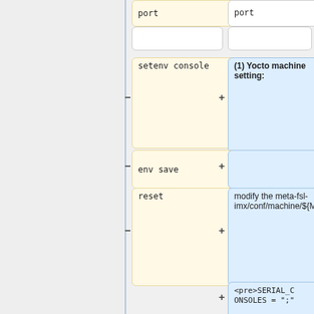[Figure (flowchart): Flowchart showing two columns: left column with yellow command boxes (port, setenv console, env save, reset) and right column with blue annotation boxes ((1) Yocto machine setting:, modify the meta-fsl-imx/conf/machine/${MC}.conf, <pre>SERIAL_CONSOLES = ";", </pre>, (2) Uboot parameter&nbsp;setting:). Plus and minus connectors between nodes.]